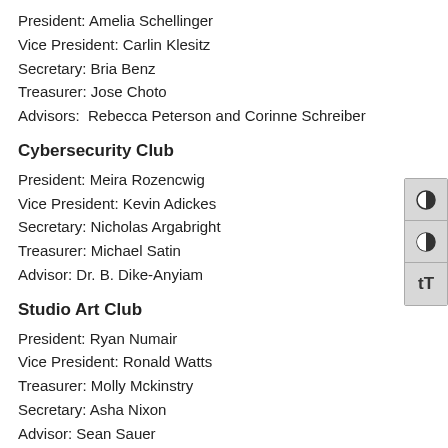President: Amelia Schellinger
Vice President: Carlin Klesitz
Secretary: Bria Benz
Treasurer: Jose Choto
Advisors:  Rebecca Peterson and Corinne Schreiber
Cybersecurity Club
President: Meira Rozencwig
Vice President: Kevin Adickes
Secretary: Nicholas Argabright
Treasurer: Michael Satin
Advisor: Dr. B. Dike-Anyiam
Studio Art Club
President: Ryan Numair
Vice President: Ronald Watts
Treasurer: Molly Mckinstry
Secretary: Asha Nixon
Advisor: Sean Sauer